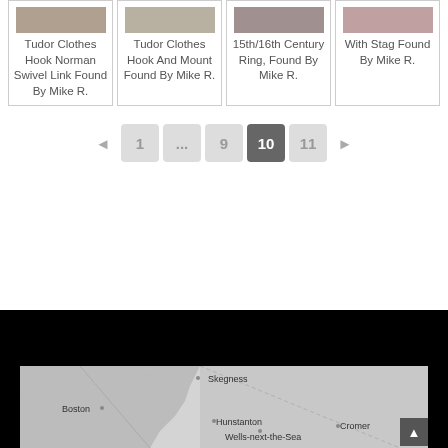Tudor Clothes Hook Norman Swivel Link Found By Mike R.
Tudor Clothes Hook And Mount Found By Mike R.
15th/16th Century Ring, Found By Mike R.
With Stag Found By Mike R.
◄ 1 ... 9 10 11 ►
[Figure (map): Greyscale map showing the east coast of England including Skegness, Boston, Hunstanton, Wells-next-the-Sea, and Cromer]